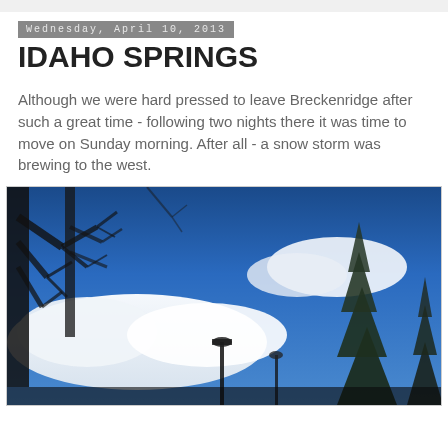Wednesday, April 10, 2013
IDAHO SPRINGS
Although we were hard pressed to leave Breckenridge after such a great time - following two nights there it was time to move on Sunday morning. After all - a snow storm was brewing to the west.
[Figure (photo): Outdoor photo looking up at bare winter trees against a blue sky with white clouds; evergreen trees visible on the right edge; street lamp silhouette at bottom center.]